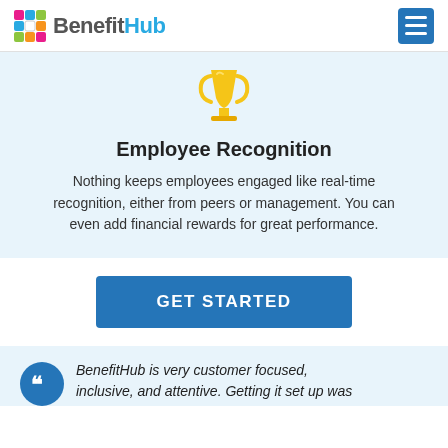[Figure (logo): BenefitHub logo with colorful grid icon and brand name]
[Figure (illustration): Gold trophy cup icon]
Employee Recognition
Nothing keeps employees engaged like real-time recognition, either from peers or management. You can even add financial rewards for great performance.
GET STARTED
BenefitHub is very customer focused, inclusive, and attentive. Getting it set up was